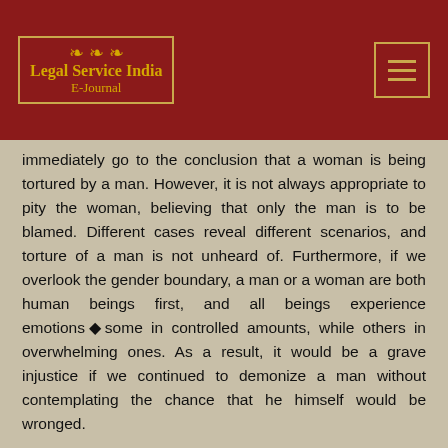Legal Service India E-Journal
immediately go to the conclusion that a woman is being tortured by a man. However, it is not always appropriate to pity the woman, believing that only the man is to be blamed. Different cases reveal different scenarios, and torture of a man is not unheard of. Furthermore, if we overlook the gender boundary, a man or a woman are both human beings first, and all beings experience emotions◆some in controlled amounts, while others in overwhelming ones. As a result, it would be a grave injustice if we continued to demonize a man without contemplating the chance that he himself would be wronged.
In the case of Mayadevi v. Jagdish Prasad, 2017, the Supreme Court ruled that in cases of emotional or mental torture inflicted on either spouse, not just the wife, the courts will not hesitate to grant divorce on the grounds of mental cruelty, which in simple terms means that a husband can get a divorce if the court finds sufficient